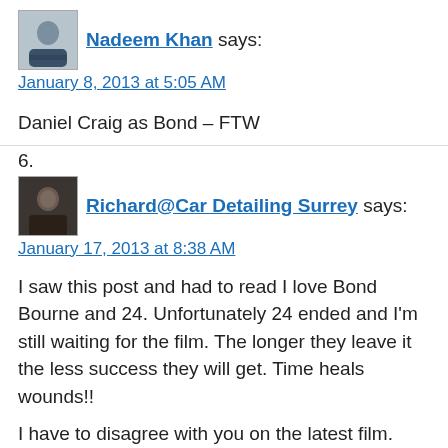[Figure (photo): Avatar photo of Nadeem Khan, a man in a striped shirt]
Nadeem Khan says:
January 8, 2013 at 5:05 AM
Daniel Craig as Bond – FTW
6.
[Figure (photo): Avatar photo of Richard, dark image of a person]
Richard@Car Detailing Surrey says:
January 17, 2013 at 8:38 AM
I saw this post and had to read I love Bond Bourne and 24. Unfortunately 24 ended and I'm still waiting for the film. The longer they leave it the less success they will get. Time heals wounds!!
I have to disagree with you on the latest film. Excellent is all I could say. Thats one of the reasons I think Bond would win. Bourne being so